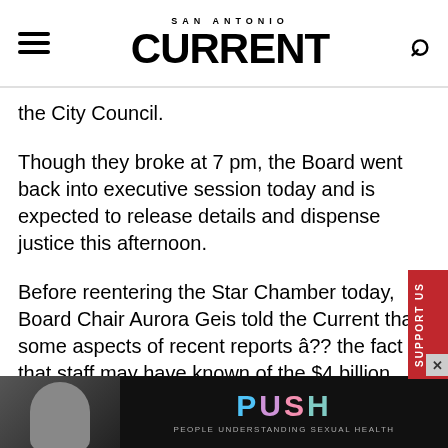SAN ANTONIO CURRENT
the City Council.
Though they broke at 7 pm, the Board went back into executive session today and is expected to release details and dispense justice this afternoon.
Before reentering the Star Chamber today, Board Chair Aurora Geis told the Current that some aspects of recent reports â?? the fact that staff may have known of the $4 billion discrepancy for as long as a year â?? would be discredited in the end.
“There are provisions of the contract we agreed upon, and
[Figure (photo): Advertisement banner at bottom of page: woman figure on left, PUSH logo with colorful letters on dark background, tagline PEOPLE UNDERSTANDING SEXUAL HEALTH]